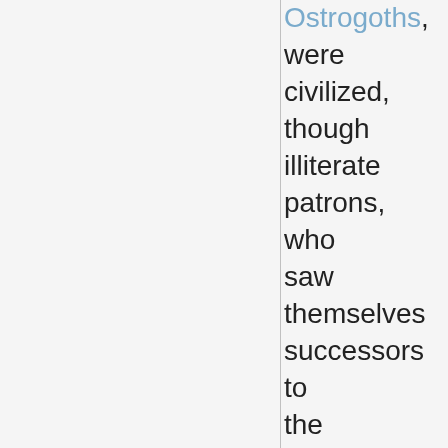Ostrogoths, were civilized, though illiterate patrons, who saw themselves successors to the Roman tradition, employing